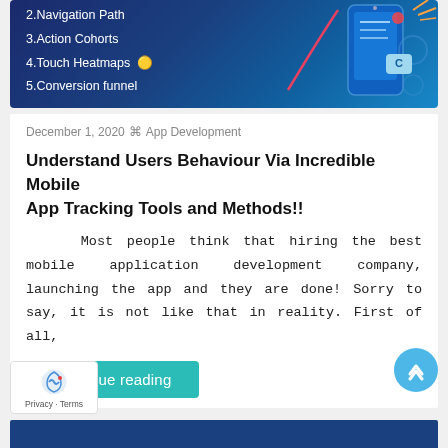[Figure (screenshot): Dark blue hero banner with list items: 2.Navigation Path, 3.Action Cohorts, 4.Touch Heatmaps, 5.Conversion funnel, and a stylized phone/app illustration on the right side]
December 1, 2020 ⊕ App Development
Understand Users Behaviour Via Incredible Mobile App Tracking Tools and Methods!!
Most people think that hiring the best mobile application development company, launching the app and they are done! Sorry to say, it is not like that in reality. First of all,
Continue reading